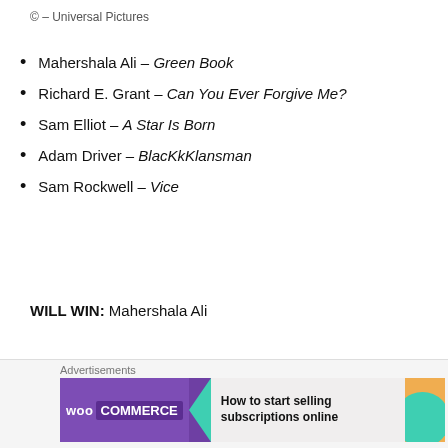© – Universal Pictures
Mahershala Ali – Green Book
Richard E. Grant – Can You Ever Forgive Me?
Sam Elliot – A Star Is Born
Adam Driver – BlacKkKlansman
Sam Rockwell – Vice
WILL WIN: Mahershala Ali
POSSIBLE ALTERNATIVE: Richard E. Grant
[Figure (screenshot): Red advertisement banner for an app with text 'An app by listeners, for' and a phone image]
[Figure (screenshot): WooCommerce advertisement banner with text 'How to start selling subscriptions online']